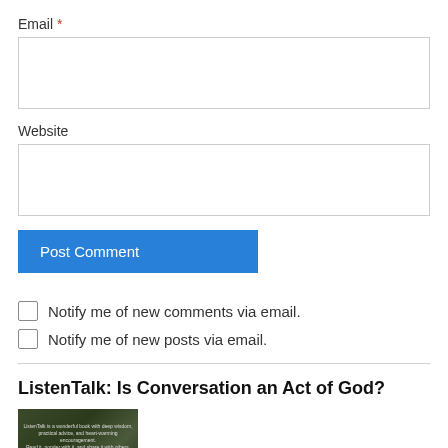Email *
Website
Post Comment
Notify me of new comments via email.
Notify me of new posts via email.
ListenTalk: Is Conversation an Act of God?
[Figure (photo): Book cover image for ListenTalk with dark green/brown forest background and text quote]